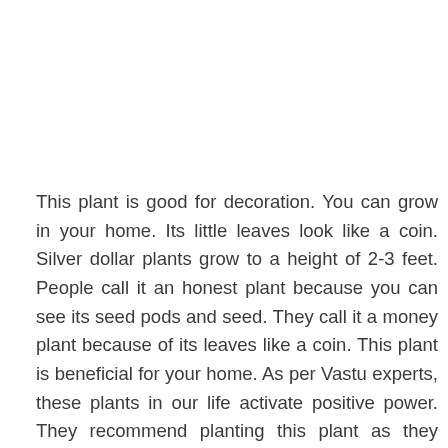This plant is good for decoration. You can grow in your home. Its little leaves look like a coin. Silver dollar plants grow to a height of 2-3 feet. People call it an honest plant because you can see its seed pods and seed. They call it a money plant because of its leaves like a coin. This plant is beneficial for your home. As per Vastu experts, these plants in our life activate positive power. They recommend planting this plant as they bring prosperity to the house. Furthermore, this plant is also a good option for the decorations. You can grow this plant near your window or door. Because this plant is a source of positive energy and it's good for your home